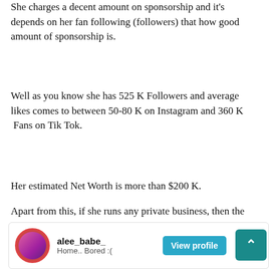She charges a decent amount on sponsorship and it's depends on her fan following (followers) that how good amount of sponsorship is.
Well as you know she has 525 K Followers and average likes comes to between 50-80 K on Instagram and 360 K  Fans on Tik Tok.
Her estimated Net Worth is more than $200 K.
Apart from this, if she runs any private business, then the it's net worth is not included in this. And we have researched their social media handles and tried to get the estimated data of their net worth with the help of internet So it is not confirmed that this data is accurate.
[Figure (infographic): Social media profile card for user alee_babe_ with status 'Home.. Bored :(' and a View profile button. A scroll-to-top button is visible at the right.]